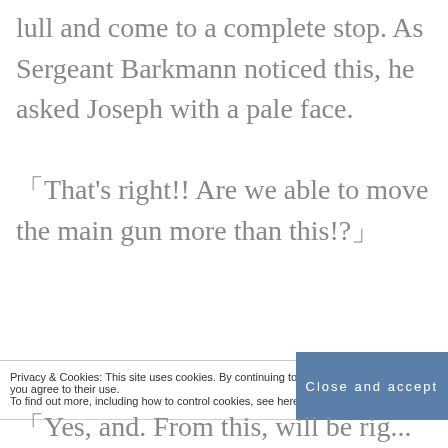lull and come to a complete stop. As Sergeant Barkmann noticed this, he asked Joseph with a pale face.
「That’s right!! Are we able to move the main gun more than this!?」
Privacy & Cookies: This site uses cookies. By continuing to use this website, you agree to their use. To find out more, including how to control cookies, see here: Privacy Policy
Close and accept
「Yes, and. From this, will be rig...